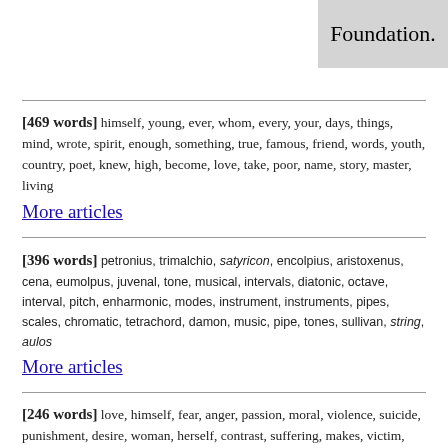Foundation.
[469 words] himself, young, ever, whom, every, your, days, things, mind, wrote, spirit, enough, something, true, famous, friend, words, youth, country, poet, knew, high, become, love, take, poor, name, story, master, living
More articles
[396 words] petronius, trimalchio, satyricon, encolpius, aristoxenus, cena, eumolpus, juvenal, tone, musical, intervals, diatonic, octave, interval, pitch, enharmonic, modes, instrument, instruments, pipes, scales, chromatic, tetrachord, damon, music, pipe, tones, sullivan, string, aulos
More articles
[246 words] love, himself, fear, anger, passion, moral, violence, suicide, punishment, desire, woman, herself, contrast, suffering, makes, victim, gods, evil, power, pity, shame, fate, situation, grief, cause, violent, behavior, becomes, theme, madness